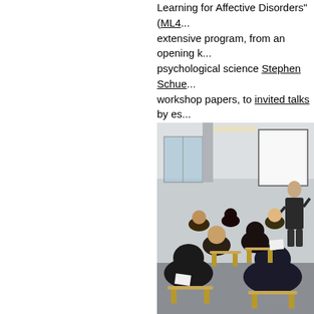Learning for Affective Disorders" (ML4... extensive program, from an opening k... psychological science Stephen Schue... workshop papers, to invited talks by es... application areas included: detection o... risk prediction on Reddit; various appr... impulse suppression task to help dete... generating better "well-being features"...
[Figure (photo): A workshop or seminar room with attendees seated in wooden chairs facing a presenter standing at the front near a whiteboard. The attendees are seen from behind. The room has large windows with curtains and light-colored walls.]